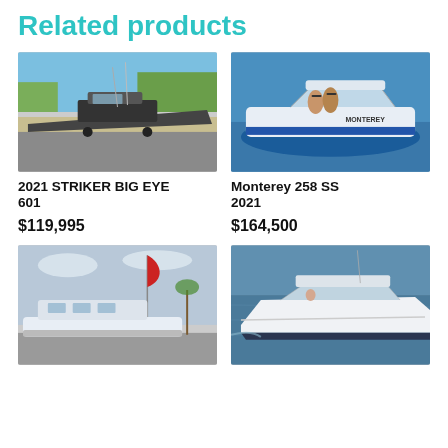Related products
[Figure (photo): Gray aluminum fishing boat on trailer in parking lot with trees and blue sky background]
2021 STRIKER BIG EYE 601
$119,995
[Figure (photo): Monterey 258 SS white and blue bowrider speedboat on water with two people lounging]
Monterey 258 SS 2021
$164,500
[Figure (photo): White cruiser boat at a marina with a red teardrop flag banner]
[Figure (photo): White luxury sport cruiser yacht on open water]